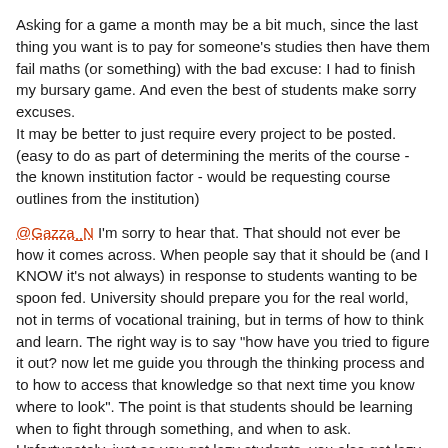Asking for a game a month may be a bit much, since the last thing you want is to pay for someone's studies then have them fail maths (or something) with the bad excuse: I had to finish my bursary game. And even the best of students make sorry excuses.
It may be better to just require every project to be posted. (easy to do as part of determining the merits of the course - the known institution factor - would be requesting course outlines from the institution)
@Gazza_N I'm sorry to hear that. That should not ever be how it comes across. When people say that it should be (and I KNOW it's not always) in response to students wanting to be spoon fed. University should prepare you for the real world, not in terms of vocational training, but in terms of how to think and learn. The right way is to say "how have you tried to figure it out? now let me guide you through the thinking process and to how to access that knowledge so that next time you know where to look". The point is that students should be learning when to fight through something, and when to ask. Unfortunately, just as you get lazy students, you also get lazy lecturers who use it as a get-out-of-jail-free card.